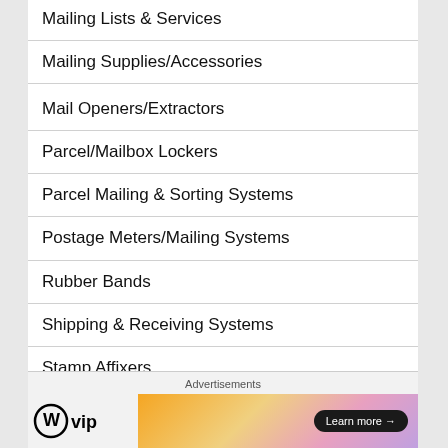Mailing Lists & Services
Mailing Supplies/Accessories
Mail Openers/Extractors
Parcel/Mailbox Lockers
Parcel Mailing & Sorting Systems
Postage Meters/Mailing Systems
Rubber Bands
Shipping & Receiving Systems
Stamp Affixers
Tabbing Systems
Advertisements
[Figure (logo): WordPress VIP logo with circle W icon and 'vip' text]